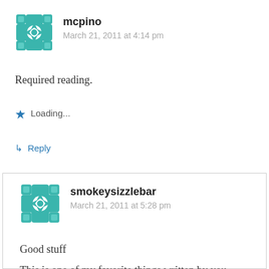[Figure (illustration): Teal geometric avatar icon for user mcpino]
mcpino
March 21, 2011 at 4:14 pm
Required reading.
Loading...
↳ Reply
[Figure (illustration): Teal geometric avatar icon for user smokeysizzlebar]
smokeysizzlebar
March 21, 2011 at 5:28 pm
Good stuff
This is one of my favorite things written by you.
What the left and right both fail to understand is